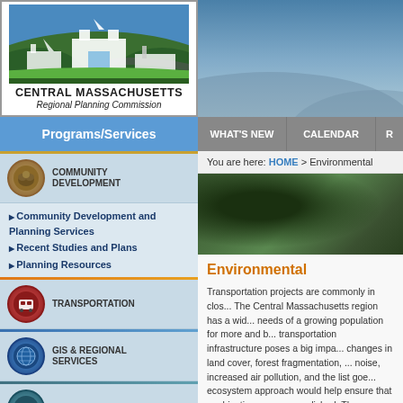[Figure (logo): Central Massachusetts Regional Planning Commission logo with building silhouettes and green hills]
Programs/Services | WHAT'S NEW | CALENDAR | R
You are here: HOME > Environmental
[Figure (photo): Photo of trees/forest canopy with dark green foliage]
COMMUNITY DEVELOPMENT
Community Development and Planning Services
Recent Studies and Plans
Planning Resources
TRANSPORTATION
GIS & REGIONAL SERVICES
HOMELAND SECURITY
Environmental
Transportation projects are commonly in clos... The Central Massachusetts region has a wid... needs of a growing population for more and b... transportation infrastructure poses a big impa... changes in land cover, forest fragmentation, ... noise, increased air pollution, and the list goe... ecosystem approach would help ensure that ... objectives are accomplished. The CMMPO w... improve current processes and maintain...